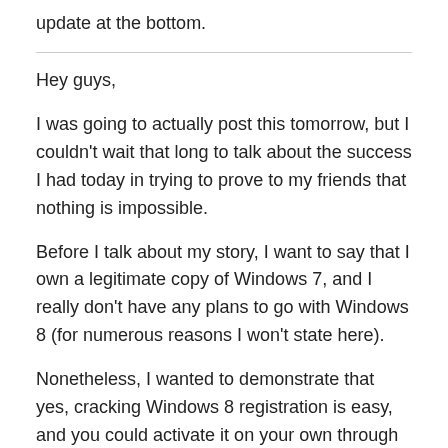update at the bottom.
Hey guys,
I was going to actually post this tomorrow, but I couldn't wait that long to talk about the success I had today in trying to prove to my friends that nothing is impossible.
Before I talk about my story, I want to say that I own a legitimate copy of Windows 7, and I really don't have any plans to go with Windows 8 (for numerous reasons I won't state here).
Nonetheless, I wanted to demonstrate that yes, cracking Windows 8 registration is easy, and you could activate it on your own through other means. This article is simply for educational purposes. How you wish to proceed forward is